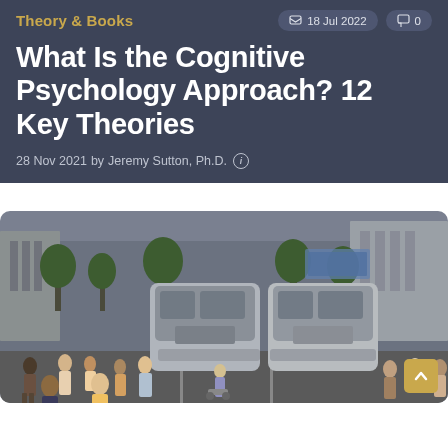Theory & Books
18 Jul 2022  0
What Is the Cognitive Psychology Approach? 12 Key Theories
28 Nov 2021 by Jeremy Sutton, Ph.D.
[Figure (photo): Street scene with two modern trams/light rail vehicles and a crowd of pedestrians crossing the road in an urban environment with trees and buildings in the background.]